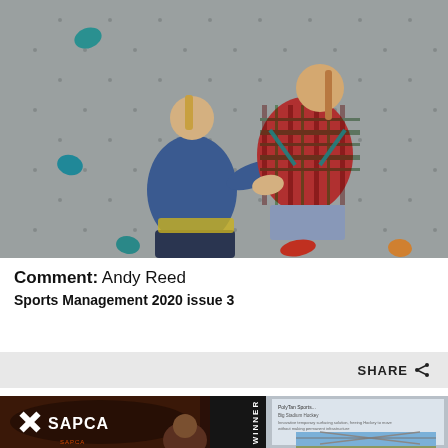[Figure (photo): Two women at an indoor climbing wall. One woman in a blue t-shirt with a climbing harness faces away from the camera, spotting a second woman in a red plaid shirt who is climbing the wall wearing a harness and using colorful climbing holds.]
Comment: Andy Reed
Sports Management 2020 issue 3
SHARE
[Figure (photo): A SAPCA awards event. The SAPCA logo is displayed on the left in white on a dark background. A WINNER banner is visible in the center. On the right is a projected slide showing a PolyTan Sports Big Stadium Hockey innovative temporary surfacing solution presentation with an image of a stadium bridge structure.]